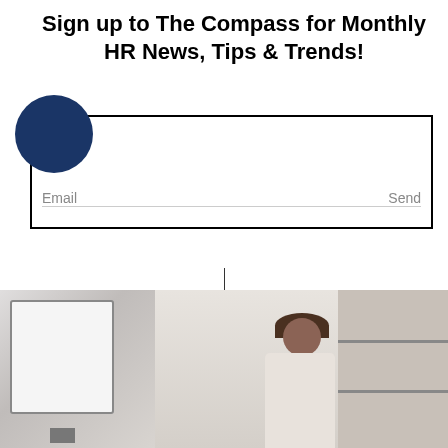Sign up to The Compass for Monthly HR News, Tips & Trends!
[Figure (screenshot): Email signup form with dark blue circle decoration, Email input field with Send button, and a horizontal divider line below]
[Figure (photo): Photo of a person (woman with dark hair in bun) sitting at a desk with a computer monitor, bookshelves visible in background]